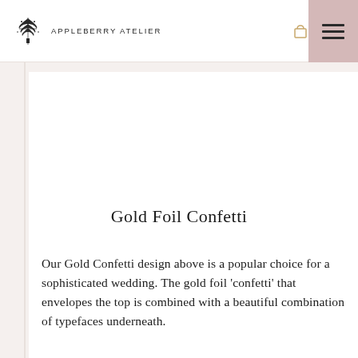APPLEBERRY ATELIER  0 items
Gold Foil Confetti
Our Gold Confetti design above is a popular choice for a sophisticated wedding. The gold foil ‘confetti’ that envelopes the top is combined with a beautiful combination of typefaces underneath.